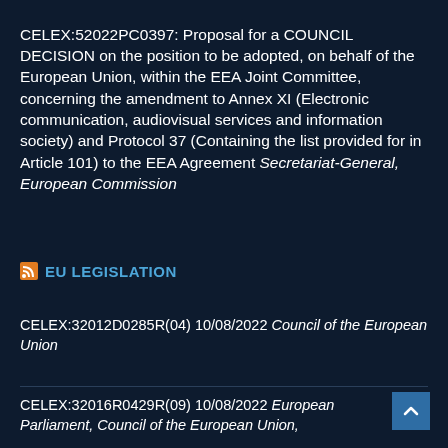CELEX:52022PC0397: Proposal for a COUNCIL DECISION on the position to be adopted, on behalf of the European Union, within the EEA Joint Committee, concerning the amendment to Annex XI (Electronic communication, audiovisual services and information society) and Protocol 37 (Containing the list provided for in Article 101) to the EEA Agreement Secretariat-General, European Commission
EU LEGISLATION
CELEX:32012D0285R(04) 10/08/2022 Council of the European Union
CELEX:32016R0429R(09) 10/08/2022 European Parliament, Council of the European Union,